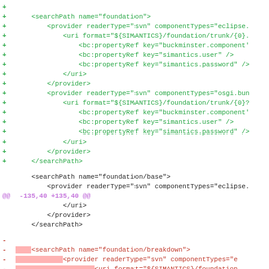Diff/patch view of an XML configuration file showing added lines (green +) and removed lines (red -) with context lines, including a @@ hunk header in magenta.